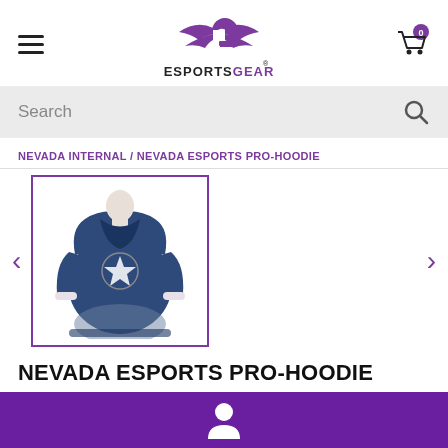[Figure (logo): ESportsGear logo with purple winged G emblem above text ESPORTSGEAR]
[Figure (screenshot): Shopping cart icon with badge showing 0]
Search
NEVADA INTERNAL / NEVADA ESPORTS PRO-HOODIE
[Figure (photo): Nevada Esports Pro-Hoodie product thumbnail – blue and grey hoodie with star design on front]
NEVADA ESPORTS PRO-HOODIE
AVAILABILITY:  IN STOCK
[Figure (illustration): White person/user icon on purple footer bar]